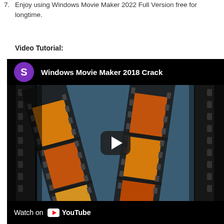7. Enjoy using Windows Movie Maker 2022 Full Version free for longtime.
Video Tutorial:
[Figure (screenshot): YouTube video embed showing 'Windows Movie Maker 2018 Crack' with a film strip thumbnail, play button, and 'Watch on YouTube' footer bar. Channel avatar is a purple circle with letter S.]